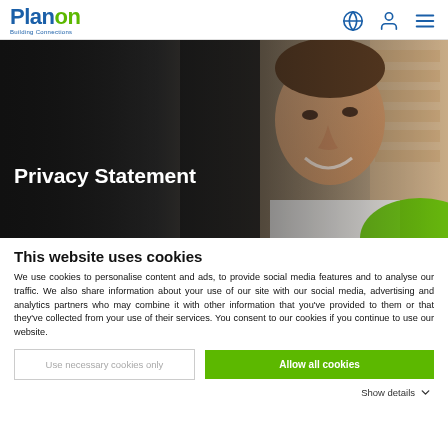Planon Building Connections
[Figure (photo): A smiling young man looking at a laptop screen, hero image with dark overlay on left side and green element in lower right]
Privacy Statement
This website uses cookies
We use cookies to personalise content and ads, to provide social media features and to analyse our traffic. We also share information about your use of our site with our social media, advertising and analytics partners who may combine it with other information that you've provided to them or that they've collected from your use of their services. You consent to our cookies if you continue to use our website.
Use necessary cookies only
Allow all cookies
Show details